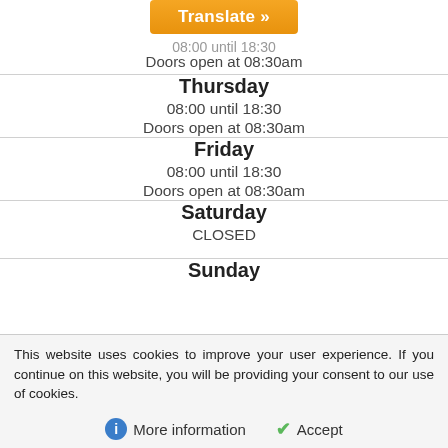| [Translate button + clipped hours]
Doors open at 08:30am |
| Thursday
08:00 until 18:30
Doors open at 08:30am |
| Friday
08:00 until 18:30
Doors open at 08:30am |
| Saturday
CLOSED |
| Sunday |
This website uses cookies to improve your user experience. If you continue on this website, you will be providing your consent to our use of cookies.
More information   Accept